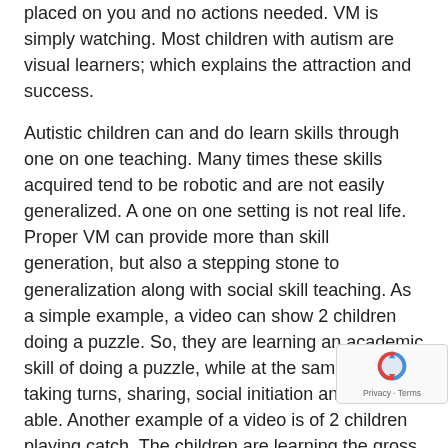placed on you and no actions needed. VM is simply watching. Most children with autism are visual learners; which explains the attraction and success.
Autistic children can and do learn skills through one on one teaching. Many times these skills acquired tend to be robotic and are not easily generalized. A one on one setting is not real life. Proper VM can provide more than skill generation, but also a stepping stone to generalization along with social skill teaching. As a simple example, a video can show 2 children doing a puzzle. So, they are learning an academic skill of doing a puzzle, while at the same time, taking turns, sharing, social initiation and talking if able. Another example of a video is of 2 children playing catch. The children are learning the gross motor skills of catching and throwing, following directions, language skills and appropriate timing of employing language such as “throw it”, “catch it”, “over here”, “n catch”, etc... You can see that the opportunities of